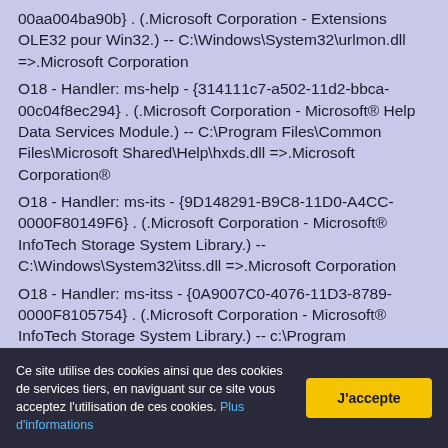00aa004ba90b} . (.Microsoft Corporation - Extensions OLE32 pour Win32.) -- C:\Windows\System32\urlmon.dll =>.Microsoft Corporation
O18 - Handler: ms-help - {314111c7-a502-11d2-bbca-00c04f8ec294} . (.Microsoft Corporation - Microsoft® Help Data Services Module.) -- C:\Program Files\Common Files\Microsoft Shared\Help\hxds.dll =>.Microsoft Corporation®
O18 - Handler: ms-its - {9D148291-B9C8-11D0-A4CC-0000F80149F6} . (.Microsoft Corporation - Microsoft® InfoTech Storage System Library.) -- C:\Windows\System32\itss.dll =>.Microsoft Corporation
O18 - Handler: ms-itss - {0A9007C0-4076-11D3-8789-0000F8105754} . (.Microsoft Corporation - Microsoft® InfoTech Storage System Library.) -- c:\Program Files\Common Files\Microsoft Shared\Information Retrieval\msitss.dll =>.Microsoft Corporation®
O18 - Handler: msnim - {828030A1-22C1-4009-854F-8E305202313F} . (.Microsoft Corporation - Windows Live Messenger Protocol Handler Mod.) -- C:\Program
Ce site utilise des cookies ainsi que des cookies de services tiers, en naviguant sur ce site vous acceptez l'utilisation de ces cookies. Plus d'informations